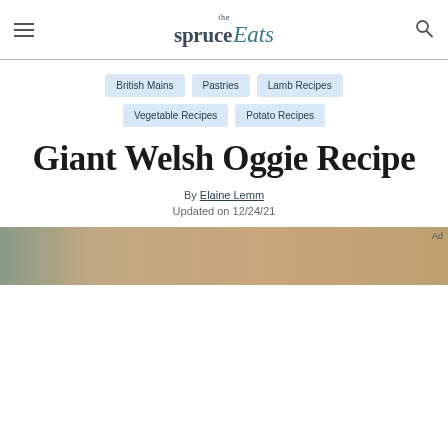the spruce Eats
British Mains
Pastries
Lamb Recipes
Vegetable Recipes
Potato Recipes
Giant Welsh Oggie Recipe
By Elaine Lemm
Updated on 12/24/21
[Figure (photo): Photo strip showing food, partially visible at bottom of page with Ad label]